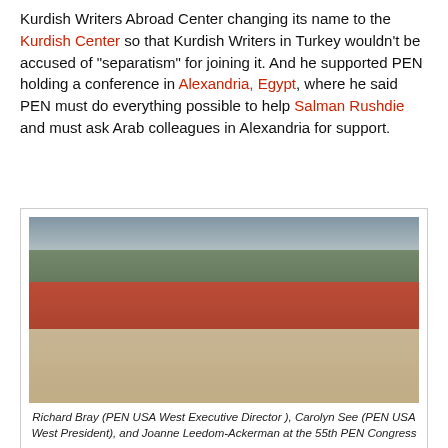Kurdish Writers Abroad Center changing its name to the Kurdish Center so that Kurdish Writers in Turkey wouldn't be accused of "separatism" for joining it. And he supported PEN holding a conference in Alexandria, Egypt, where he said PEN must do everything possible to help Salman Rushdie and must ask Arab colleagues in Alexandria for support.
[Figure (photo): Three people at a table with red tablecloths in what appears to be an outdoor restaurant setting. A tall man in a white shirt stands on the left, a woman with sunglasses in a white jacket sits in the center, and a woman in a striped shirt sits on the right.]
Richard Bray (PEN USA West Executive Director ), Carolyn See (PEN USA West President), and Joanne Leedom-Ackerman at the 55th PEN Congress